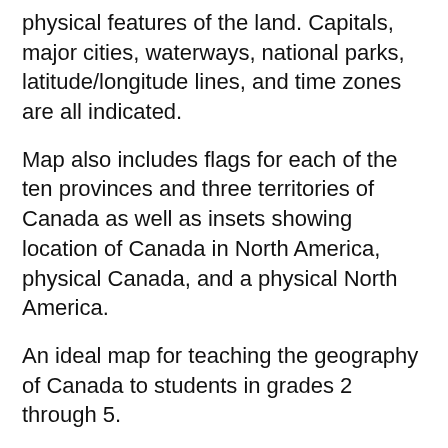physical features of the land. Capitals, major cities, waterways, national parks, latitude/longitude lines, and time zones are all indicated.
Map also includes flags for each of the ten provinces and three territories of Canada as well as insets showing location of Canada in North America, physical Canada, and a physical North America.
An ideal map for teaching the geography of Canada to students in grades 2 through 5.
Printed on heavy duty paper and laminated with a markable, washable surface, then mounted on a pull-down spring roller. Ready to hang on existing classroom map mounting hardware, or using included wall mounting bracket.
This map is also available as part of the multi-mount combination...